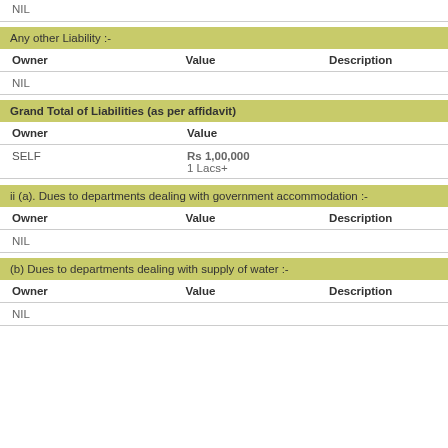NIL
Any other Liability :-
| Owner | Value | Description |
| --- | --- | --- |
| NIL |  |  |
Grand Total of Liabilities (as per affidavit)
| Owner | Value |
| --- | --- |
| SELF | Rs 1,00,000
1 Lacs+ |
ii (a). Dues to departments dealing with government accommodation :-
| Owner | Value | Description |
| --- | --- | --- |
| NIL |  |  |
(b) Dues to departments dealing with supply of water :-
| Owner | Value | Description |
| --- | --- | --- |
| NIL |  |  |